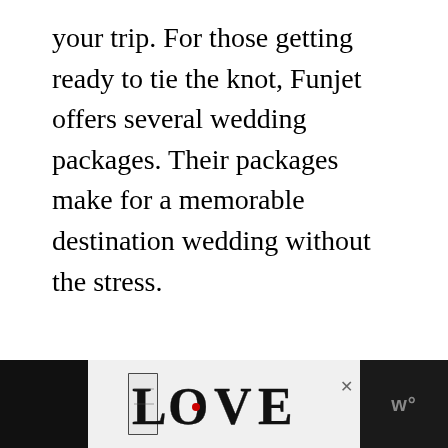your trip. For those getting ready to tie the knot, Funjet offers several wedding packages. Their packages make for a memorable destination wedding without the stress.
[Figure (illustration): Advertisement banner at the bottom of the page. Black background on left and right sides. Center white/light grey area shows decorative 'LOVE' text logo in black and white illustration style with intricate patterns. An 'x' close button appears to the right of the logo. Right black panel shows a stylized 'w°' logo in grey.]